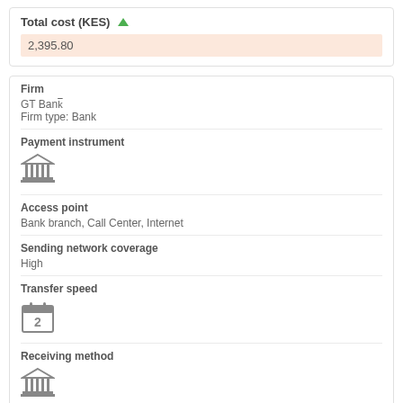Total cost (KES)
2,395.80
Firm
GT Bank
Firm type: Bank
Payment instrument
[Figure (illustration): Bank/building institution icon]
Access point
Bank branch, Call Center, Internet
Sending network coverage
High
Transfer speed
[Figure (illustration): Calendar icon showing number 2]
Receiving method
[Figure (illustration): Bank/building institution icon]
Disbursing network coverage
High
Fee
1,800.00